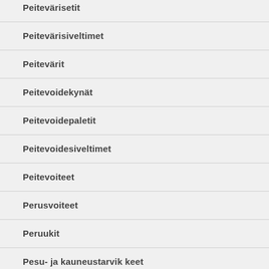Peitevärisetit
Peitevärisiveltimet
Peitevärit
Peitevoidekynät
Peitevoidepaletit
Peitevoidesiveltimet
Peitevoiteet
Perusvoiteet
Peruukit
Pesu- ja kauneustarvik keet